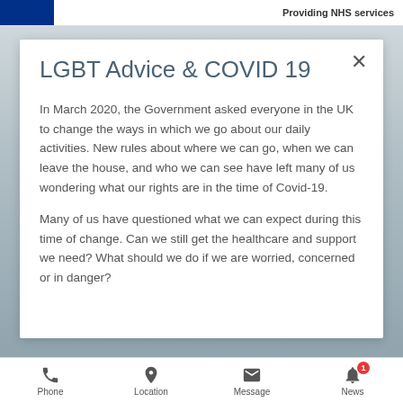Providing NHS services
LGBT Advice & COVID 19
In March 2020, the Government asked everyone in the UK to change the ways in which we go about our daily activities. New rules about where we can go, when we can leave the house, and who we can see have left many of us wondering what our rights are in the time of Covid-19.
Many of us have questioned what we can expect during this time of change. Can we still get the healthcare and support we need? What should we do if we are worried, concerned or in danger?
Phone  Location  Message  News